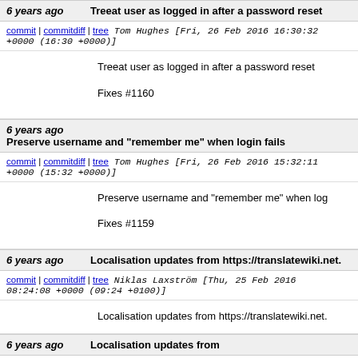6 years ago  Treeat user as logged in after a password reset
commit | commitdiff | tree  Tom Hughes [Fri, 26 Feb 2016 16:30:32 +0000 (16:30 +0000)]
Treeat user as logged in after a password reset

Fixes #1160
6 years ago  Preserve username and "remember me" when login fails
commit | commitdiff | tree  Tom Hughes [Fri, 26 Feb 2016 15:32:11 +0000 (15:32 +0000)]
Preserve username and "remember me" when log

Fixes #1159
6 years ago  Localisation updates from https://translatewiki.net.
commit | commitdiff | tree  Niklas Laxström [Thu, 25 Feb 2016 08:24:08 +0000 (09:24 +0100)]
Localisation updates from https://translatewiki.net.
6 years ago  Localisation updates from